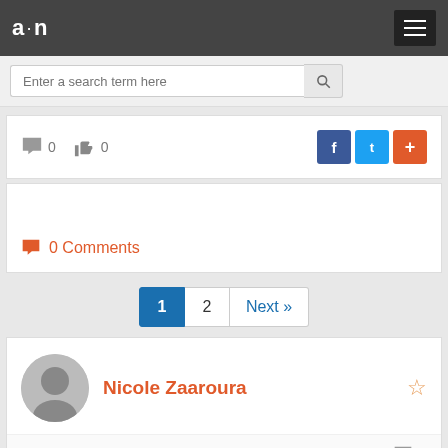a·n [navigation bar with hamburger menu]
Enter a search term here [search bar]
💬 0   👍 0 [social share: Facebook, Twitter, +]
💬 0 Comments
Pagination: 1  2  Next »
Nicole Zaaroura
👍 1   💬 0